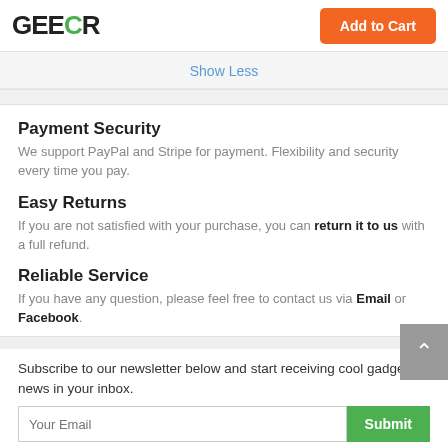GEECR — Add to Cart
Show Less
Payment Security
We support PayPal and Stripe for payment. Flexibility and security every time you pay.
Easy Returns
If you are not satisfied with your purchase, you can return it to us with a full refund.
Reliable Service
If you have any question, please feel free to contact us via Email or Facebook.
Subscribe to our newsletter below and start receiving cool gadgets news in your inbox.